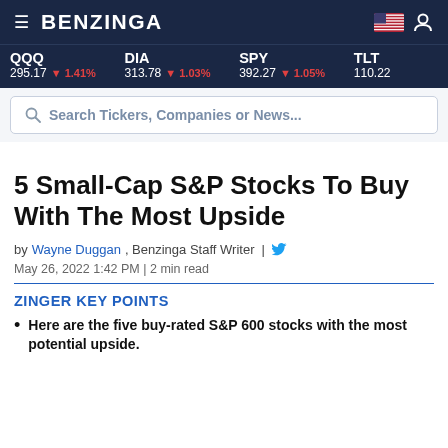BENZINGA
QQQ 295.17 ▼ 1.41% | DIA 313.78 ▼ 1.03% | SPY 392.27 ▼ 1.05% | TLT 110.22
Search Tickers, Companies or News...
5 Small-Cap S&P Stocks To Buy With The Most Upside
by Wayne Duggan, Benzinga Staff Writer | May 26, 2022 1:42 PM | 2 min read
ZINGER KEY POINTS
Here are the five buy-rated S&P 600 stocks with the most potential upside.